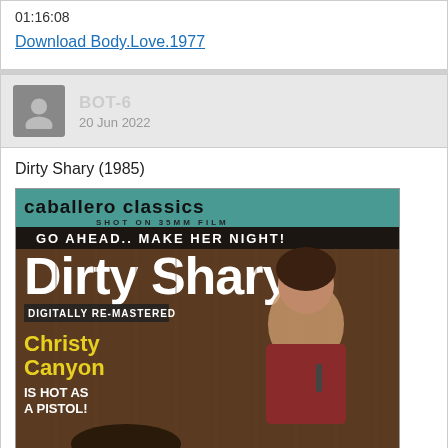01:16:08
Download Body.Love.1977
BOT-6
20 Jun 2022
Dirty Shary (1985)
[Figure (photo): DVD cover of Dirty Shary (1985) by Caballero Classics, shot on 35mm film. Text on cover: GO AHEAD.. MAKE HER NIGHT! Dirty Shary. DIGITALLY RE-MASTERED. Christy Canyon IS HOT AS A PISTOL!]